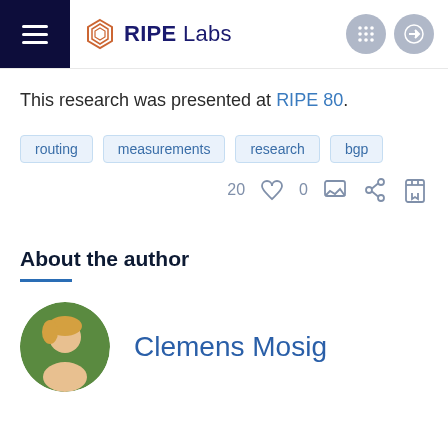RIPE Labs
This research was presented at RIPE 80.
routing
measurements
research
bgp
20  0
About the author
Clemens Mosig